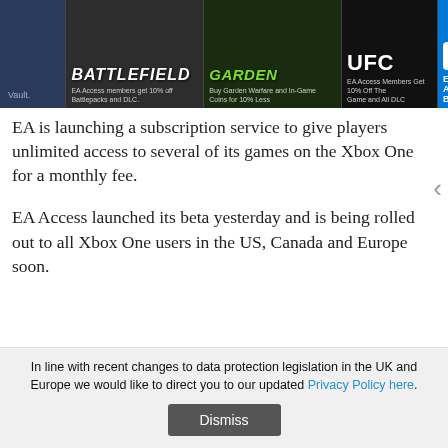[Figure (screenshot): Screenshot of EA Access promotional banner showing Battlefield, Garden Warfare, UFC, and EA Access tiles on Xbox One interface]
EA is launching a subscription service to give players unlimited access to several of its games on the Xbox One for a monthly fee.
EA Access launched its beta yesterday and is being rolled out to all Xbox One users in the US, Canada and Europe soon.
Membership to the subscription service will cost $4.99 a month or $29.99 for the year. This will allow players access to the Vault, a collection of EA’s games that can be downloaded and played. The beta is testing this with FIFA 14, Madden NFL 25, Peggle 2 and Battlefield 4.
In line with recent changes to data protection legislation in the UK and Europe we would like to direct you to our updated Privacy Policy here.